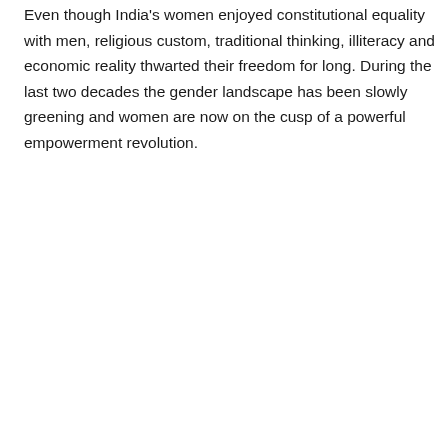Even though India's women enjoyed constitutional equality with men, religious custom, traditional thinking, illiteracy and economic reality thwarted their freedom for long. During the last two decades the gender landscape has been slowly greening and women are now on the cusp of a powerful empowerment revolution.